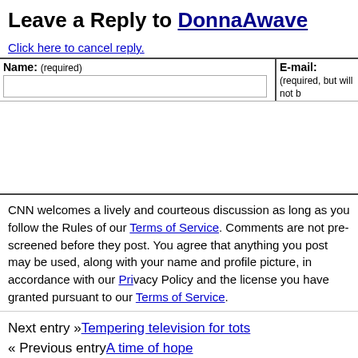Leave a Reply to DonnaAwave
Click here to cancel reply.
| Name: (required) | E-mail: (required, but will not be published) |
| --- | --- |
|  |
CNN welcomes a lively and courteous discussion as long as you follow the Rules of our Terms of Service. Comments are not pre-screened before they post. You agree that anything you post may be used, along with your name and profile picture, in accordance with our Privacy Policy and the license you have granted pursuant to our Terms of Service.
Next entry »Tempering television for tots
« Previous entryA time of hope